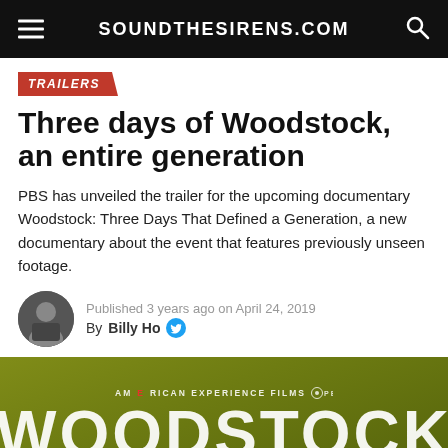SOUNDTHESIRENS.COM
TRAILERS
Three days of Woodstock, an entire generation
PBS has unveiled the trailer for the upcoming documentary Woodstock: Three Days That Defined a Generation, a new documentary about the event that features previously unseen footage.
Published 3 years ago on April 24, 2019
By Billy Ho
[Figure (illustration): Olive/yellow-green gradient background with AMERICAN EXPERIENCE FILMS PBS logo at top, large white WOODSTOCK title text, and subtitle THREE DAYS THAT DEFINED A GENERATION]